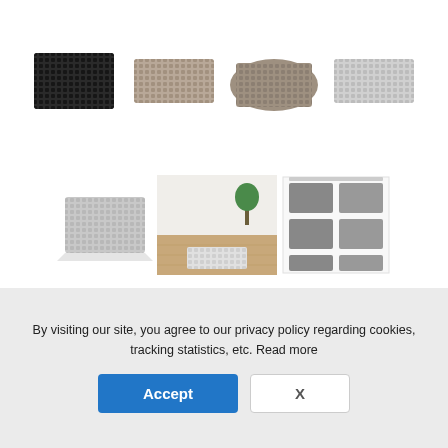[Figure (photo): Dark black rubber/plastic mat with grid hole pattern, angled 3D view]
[Figure (photo): Taupe/beige rubber mat with grid hole pattern, flat top view]
[Figure (photo): Grey rubber mat with grid hole pattern, flat top view at angle]
[Figure (photo): Light grey rubber mat with grid hole pattern, flat top view]
[Figure (photo): Light grey rubber mat with grid hole pattern, angled 3D view]
[Figure (photo): Room scene showing white mat on wooden floor near wall with plant]
[Figure (photo): Product catalog sheet showing multiple rubber mat pieces in various shapes]
By visiting our site, you agree to our privacy policy regarding cookies, tracking statistics, etc. Read more
Accept
X